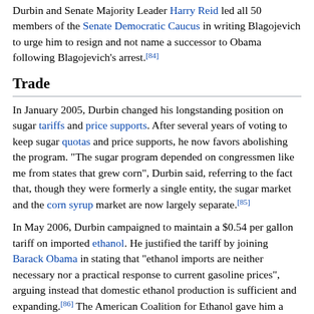Durbin and Senate Majority Leader Harry Reid led all 50 members of the Senate Democratic Caucus in writing Blagojevich to urge him to resign and not name a successor to Obama following Blagojevich's arrest.[84]
Trade
In January 2005, Durbin changed his longstanding position on sugar tariffs and price supports. After several years of voting to keep sugar quotas and price supports, he now favors abolishing the program. "The sugar program depended on congressmen like me from states that grew corn", Durbin said, referring to the fact that, though they were formerly a single entity, the sugar market and the corn syrup market are now largely separate.[85]
In May 2006, Durbin campaigned to maintain a $0.54 per gallon tariff on imported ethanol. He justified the tariff by joining Barack Obama in stating that "ethanol imports are neither necessary nor a practical response to current gasoline prices", arguing instead that domestic ethanol production is sufficient and expanding.[86] The American Coalition for Ethanol gave him a rating of 100%. [citation needed]